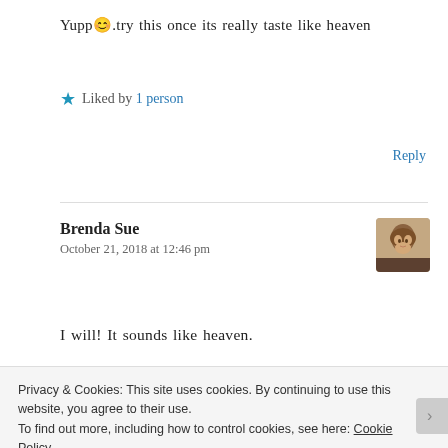Yupp😊.try this once its really taste like heaven
★ Liked by 1 person
Reply
Brenda Sue
October 21, 2018 at 12:46 pm
I will! It sounds like heaven.
Privacy & Cookies: This site uses cookies. By continuing to use this website, you agree to their use.
To find out more, including how to control cookies, see here: Cookie Policy
Close and accept